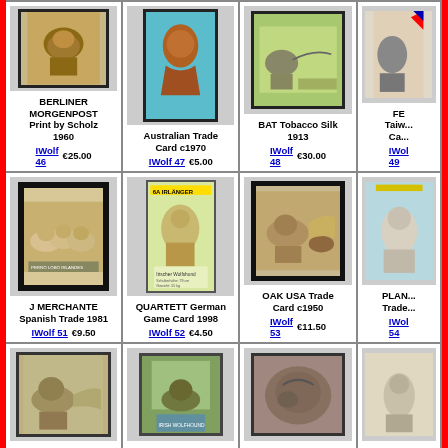[Figure (photo): BERLINER MORGENPOST Print by Scholz 1960 - dog illustration]
BERLINER MORGENPOST Print by Scholz 1960
IWolf 46  €25.00
[Figure (photo): Australian Trade Card c1970 - dog photo]
Australian Trade Card c1970
IWolf 47  €5.00
[Figure (photo): BAT Tobacco Silk 1913 - Irish Wolfhound illustration]
BAT Tobacco Silk 1913
IWolf 48  €30.00
[Figure (photo): FE Taiwan Card - partially visible]
FE Taiwan Ca...
IWolf 49
[Figure (photo): J MERCHANTE Spanish Trade 1981 - puppies photo]
J MERCHANTE Spanish Trade 1981
IWolf 51  €9.50
[Figure (photo): QUARTETT German Game Card 1998 - Irish Wolfhound card]
QUARTETT German Game Card 1998
IWolf 52  €4.50
[Figure (photo): OAK USA Trade Card c1950 - Irish Wolfhound illustration]
OAK USA Trade Card c1950
IWolf 53  €11.50
[Figure (photo): PLAN Trade Card - partially visible]
PLAN... Trade...
IWol... 54
[Figure (photo): Row 3 cell 1 - Irish Wolfhound illustration]
[Figure (photo): Row 3 cell 2 - dog stamp/card]
[Figure (photo): Row 3 cell 3 - close-up dog photo]
[Figure (photo): Row 3 cell 4 - partially visible dog card]